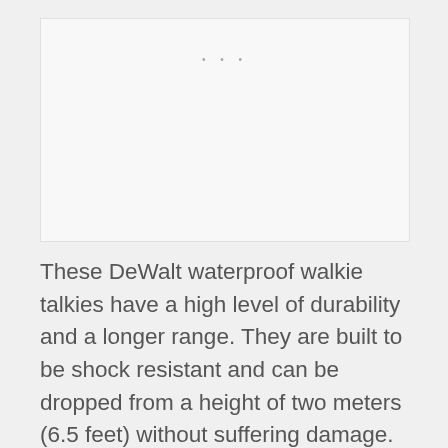[Figure (photo): Placeholder image area showing a product image of DeWalt waterproof walkie talkies, with three small dots at the top center indicating a loading or carousel indicator.]
These DeWalt waterproof walkie talkies have a high level of durability and a longer range. They are built to be shock resistant and can be dropped from a height of two meters (6.5 feet) without suffering damage. The IP rating of IP67 also means the waterproof two-way radio is fully protected against dust or sand and can